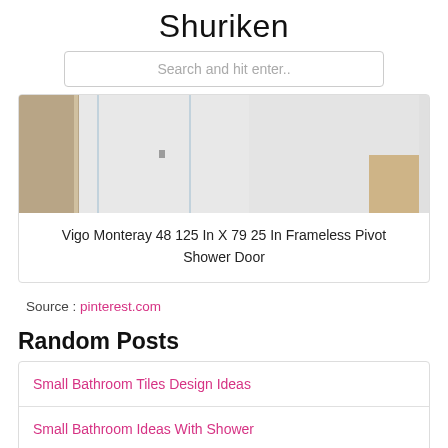Shuriken
Search and hit enter..
[Figure (photo): Frameless pivot shower door installation photo showing glass panels and wooden accents]
Vigo Monteray 48 125 In X 79 25 In Frameless Pivot Shower Door
Source : pinterest.com
Random Posts
Small Bathroom Tiles Design Ideas
Small Bathroom Ideas With Shower